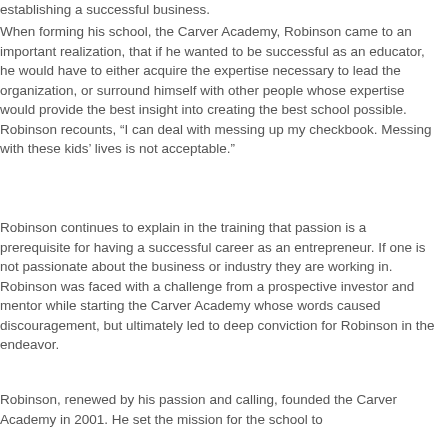establishing a successful business.
When forming his school, the Carver Academy, Robinson came to an important realization, that if he wanted to be successful as an educator, he would have to either acquire the expertise necessary to lead the organization, or surround himself with other people whose expertise would provide the best insight into creating the best school possible. Robinson recounts, “I can deal with messing up my checkbook. Messing with these kids’ lives is not acceptable.”
Robinson continues to explain in the training that passion is a prerequisite for having a successful career as an entrepreneur. If one is not passionate about the business or industry they are working in. Robinson was faced with a challenge from a prospective investor and mentor while starting the Carver Academy whose words caused discouragement, but ultimately led to deep conviction for Robinson in the endeavor.
Robinson, renewed by his passion and calling, founded the Carver Academy in 2001. He set the mission for the school to